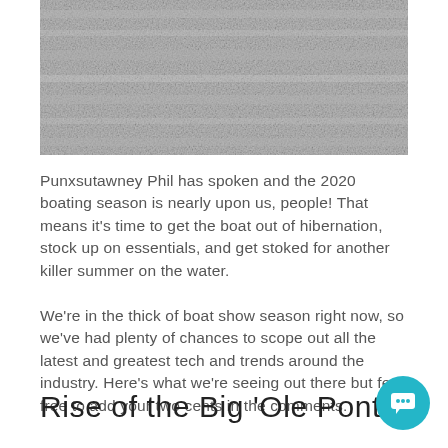[Figure (photo): Top portion of a water/wave texture photo in grayscale, cropped at the top of the page]
Punxsutawney Phil has spoken and the 2020 boating season is nearly upon us, people! That means it's time to get the boat out of hibernation, stock up on essentials, and get stoked for another killer summer on the water.
We're in the thick of boat show season right now, so we've had plenty of chances to scope out all the latest and greatest tech and trends around the industry. Here's what we're seeing out there but feel free to add your two cents in the comments.
Rise of the Big 'Ole Pontoon